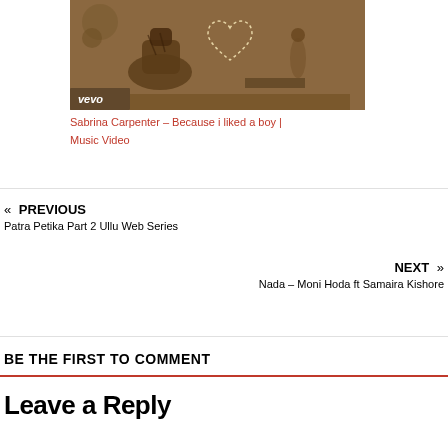[Figure (photo): Video thumbnail showing a tiger and a woman in a sepia-toned scene with a dotted heart shape between them, with 'vevo' watermark in the bottom left]
Sabrina Carpenter – Because i liked a boy | Music Video
« PREVIOUS
Patra Petika Part 2 Ullu Web Series
NEXT »
Nada – Moni Hoda ft Samaira Kishore
BE THE FIRST TO COMMENT
Leave a Reply